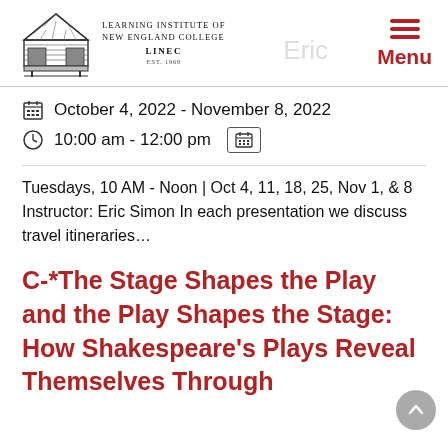[Figure (logo): Learning Institute of New England College (LINEC) logo with covered bridge illustration and text]
October 4, 2022 - November 8, 2022
10:00 am - 12:00 pm
Tuesdays, 10 AM - Noon | Oct 4, 11, 18, 25, Nov 1, & 8 Instructor: Eric Simon In each presentation we discuss travel itineraries...
C-*The Stage Shapes the Play and the Play Shapes the Stage: How Shakespeare's Plays Reveal Themselves Through